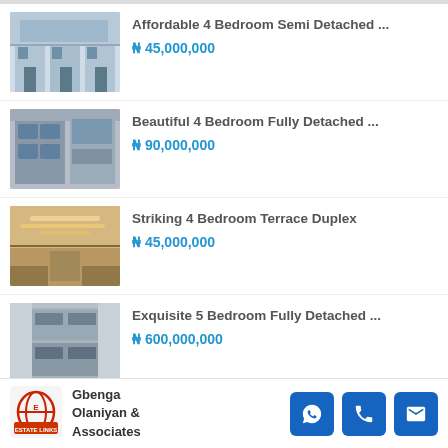[Figure (photo): Partially visible property photo at top of page]
Affordable 4 Bedroom Semi Detached ... ₦ 45,000,000
Beautiful 4 Bedroom Fully Detached ... ₦ 90,000,000
Striking 4 Bedroom Terrace Duplex ₦ 45,000,000
Exquisite 5 Bedroom Fully Detached ... ₦ 600,000,000
Gbenga Olaniyan & Associates